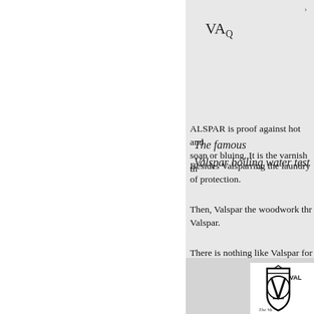VA
The famous
Valspar boiling water test
ALSPAR is proof against hot and soap or bluing. It is the varnish th
Besides Valsparring the laundry of protection.
Then, Valspar the woodwork thr Valspar.
There is nothing like Valspar for or porch-wherever water, weathe
Anyth
[Figure (logo): Valspar logo with V shield emblem and text 'The Va']